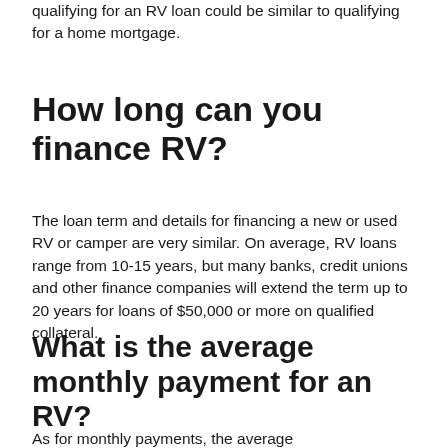qualifying for an RV loan could be similar to qualifying for a home mortgage.
How long can you finance RV?
The loan term and details for financing a new or used RV or camper are very similar. On average, RV loans range from 10-15 years, but many banks, credit unions and other finance companies will extend the term up to 20 years for loans of $50,000 or more on qualified collateral.
What is the average monthly payment for an RV?
As for monthly payments, the average